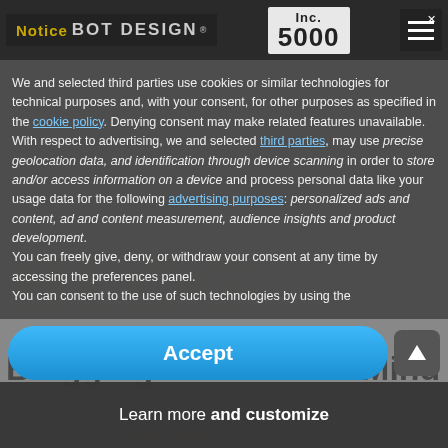Notice — BOT DESIGN® | Inc. 5000 | [menu]
We and selected third parties use cookies or similar technologies for technical purposes and, with your consent, for other purposes as specified in the cookie policy. Denying consent may make related features unavailable.
With respect to advertising, we and selected third parties, may use precise geolocation data, and identification through device scanning in order to store and/or access information on a device and process personal data like your usage data for the following advertising purposes: personalized ads and content, ad and content measurement, audience insights and product development.
You can freely give, deny, or withdraw your consent at any time by accessing the preferences panel.
You can consent to the use of such technologies by using the
Accept
Learn more and customize